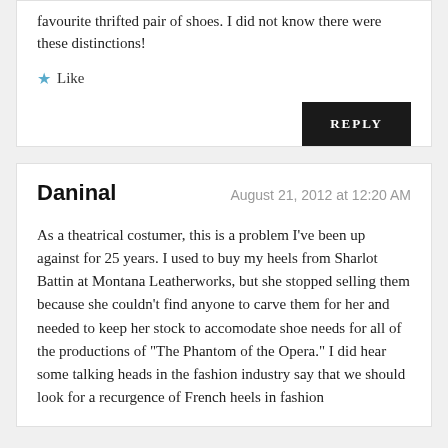favourite thrifted pair of shoes. I did not know there were these distinctions!
Like
REPLY
Daninal
August 21, 2012 at 12:20 AM
As a theatrical costumer, this is a problem I've been up against for 25 years. I used to buy my heels from Sharlot Battin at Montana Leatherworks, but she stopped selling them because she couldn't find anyone to carve them for her and needed to keep her stock to accomodate shoe needs for all of the productions of "The Phantom of the Opera." I did hear some talking heads in the fashion industry say that we should look for a recurgence of French heels in fashion